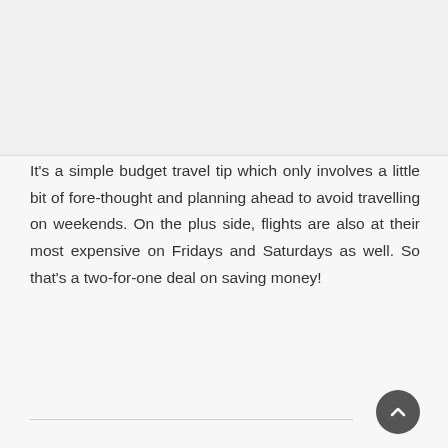It's a simple budget travel tip which only involves a little bit of fore-thought and planning ahead to avoid travelling on weekends. On the plus side, flights are also at their most expensive on Fridays and Saturdays as well. So that's a two-for-one deal on saving money!